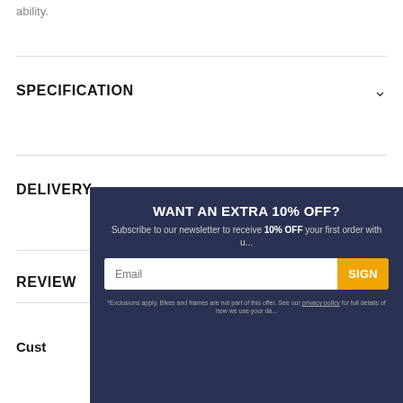ability.
SPECIFICATION
DELIVERY
REVIEW
[Figure (screenshot): Newsletter signup modal overlay with dark navy background. Title: 'WANT AN EXTRA 10% OFF?'. Subtitle: 'Subscribe to our newsletter to receive 10% OFF your first order with u...'. Email input field and SIGN UP button (yellow/orange). Footnote about exclusions and privacy policy.]
Custo
bought